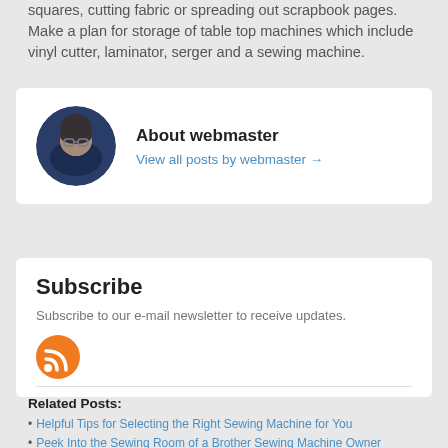squares, cutting fabric or spreading out scrapbook pages. Make a plan for storage of table top machines which include vinyl cutter, laminator, serger and a sewing machine.
About webmaster
View all posts by webmaster →
Subscribe
Subscribe to our e-mail newsletter to receive updates.
[Figure (illustration): Orange RSS feed icon circle button]
Related Posts:
Helpful Tips for Selecting the Right Sewing Machine for You
Peek Into the Sewing Room of a Brother Sewing Machine Owner